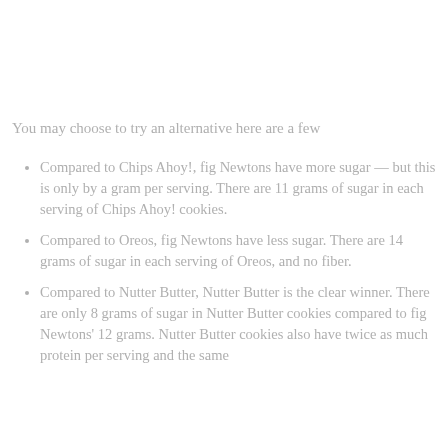You may choose to try an alternative here are a few
Compared to Chips Ahoy!, fig Newtons have more sugar — but this is only by a gram per serving. There are 11 grams of sugar in each serving of Chips Ahoy! cookies.
Compared to Oreos, fig Newtons have less sugar. There are 14 grams of sugar in each serving of Oreos, and no fiber.
Compared to Nutter Butter, Nutter Butter is the clear winner. There are only 8 grams of sugar in Nutter Butter cookies compared to fig Newtons' 12 grams. Nutter Butter cookies also have twice as much protein per serving and the same amount of fiber.